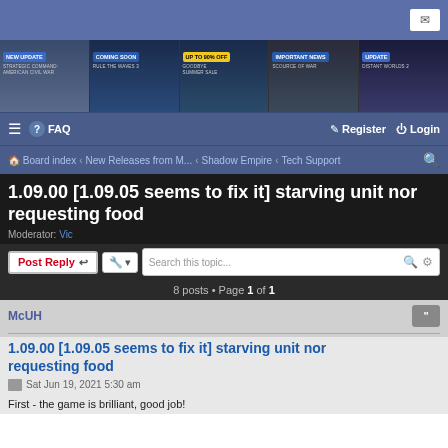[Figure (screenshot): Website header with blue background and mail icon on the right]
[Figure (screenshot): Banner strip with five game advertisement panels: NEW UPDATE - Strategic Command American Civil War, COMING SOON - Rule the Waves 3, UP TO 90% OFF - Goodbye Summer Sale, IMPORTANT NEWS - Scourge of War, UPDATE - Distant Worlds 2]
FAQ  Register  Login
Board index · New Releases from M... · Shadow Empire · Tech Support
1.09.00 [1.09.05 seems to fix it] starving unit nor requesting food
Moderator: Vic
Post Reply  Search this topic...  8 posts • Page 1 of 1
McUH
1.09.00 [1.09.05 seems to fix it] starving unit nor requesting food
Sat Jun 19, 2021 5:30 am
First - the game is brilliant, good job!